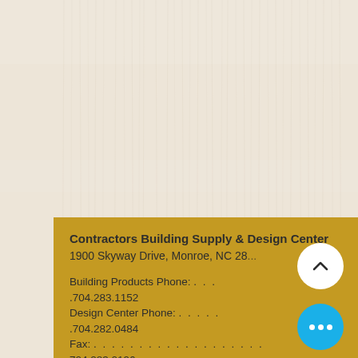[Figure (photo): Light-colored wood grain texture background filling the top portion of the page]
Contractors Building Supply & Design Center
1900 Skyway Drive, Monroe, NC 28...

Building Products Phone: . . .
.704.283.1152
Design Center Phone: . . . . .
.704.282.0484
Fax: . . . . . . . . . . . . . . . . . . .
704.283.0196